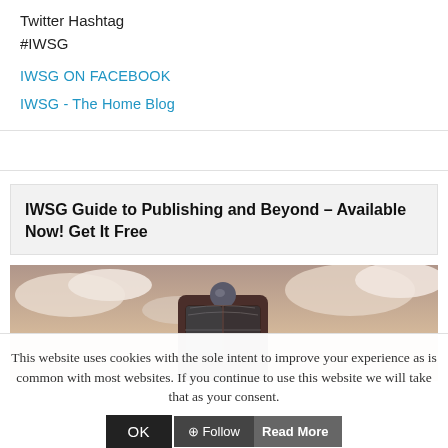Twitter Hashtag
#IWSG
IWSG ON FACEBOOK
IWSG - The Home Blog
IWSG Guide to Publishing and Beyond – Available Now! Get It Free
[Figure (photo): Top portion of a lighthouse tower with a metal dome/lantern top against a cloudy sky with warm tones]
This website uses cookies with the sole intent to improve your experience as is common with most websites. If you continue to use this website we will take that as your consent.
OK
Read More
Follow